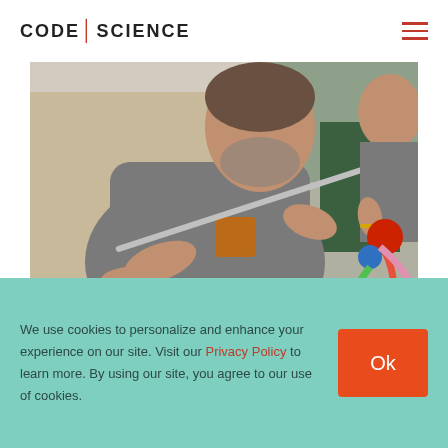CODE:SCIENCE
[Figure (photo): A man in a grey t-shirt sitting and holding a metal rod or pipe, with a woman in grey visible behind him. On the right side, welding or gas equipment with red, green, and pink hoses is visible. The scene appears to be in a workshop or outdoor tent setting.]
We use cookies to personalize and enhance your experience on our site. Visit our Privacy Policy to learn more. By using our site, you agree to our use of cookies.